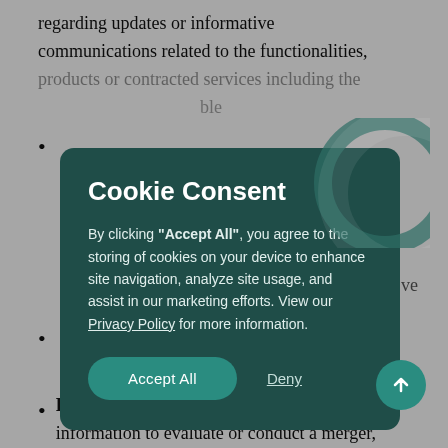regarding updates or informative communications related to the functionalities, products or contracted services including the applicable
(bullet point, partially obscured)
(partially obscured content)
[Figure (screenshot): Cookie consent modal dialog with dark teal background. Contains title 'Cookie Consent', body text about accepting cookies, 'Accept All' button and 'Deny' link. Has decorative circle graphic in top-right corner.]
(bullet point, partially obscured)
For business transfers: We may use Your information to evaluate or conduct a merger,